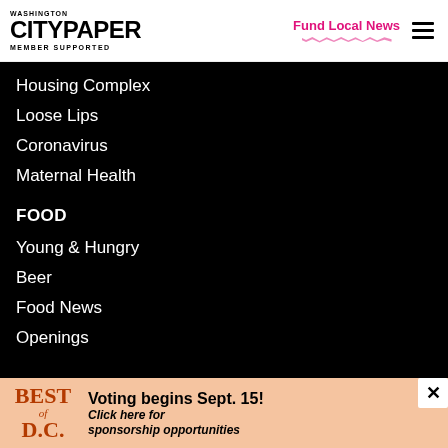WASHINGTON CITYPAPER MEMBER SUPPORTED | Fund Local News
Housing Complex
Loose Lips
Coronavirus
Maternal Health
FOOD
Young & Hungry
Beer
Food News
Openings
[Figure (other): Best of D.C. advertisement banner with text: Voting begins Sept. 15! Click here for sponsorship opportunities]